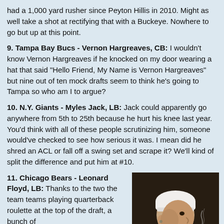had a 1,000 yard rusher since Peyton Hillis in 2010. Might as well take a shot at rectifying that with a Buckeye. Nowhere to go but up at this point.
9. Tampa Bay Bucs - Vernon Hargreaves, CB: I wouldn't know Vernon Hargreaves if he knocked on my door wearing a hat that said "Hello Friend, My Name is Vernon Hargreaves" but nine out of ten mock drafts seem to think he's going to Tampa so who am I to argue?
10. N.Y. Giants - Myles Jack, LB: Jack could apparently go anywhere from 5th to 25th because he hurt his knee last year. You'd think with all of these people scrutinizing him, someone would've checked to see how serious it was. I mean did he shred an ACL or fall off a swing set and scrape it? We'll kind of split the difference and put him at #10.
11. Chicago Bears - Leonard Floyd, LB: Thanks to the two the team teams playing quarterback roulette at the top of the draft, a bunch of
[Figure (photo): Person wearing a white cap/do-rag, smoking a cigarette, profile view against dark background]